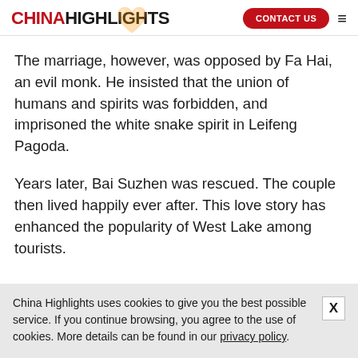CHINA HIGHLIGHTS | CONTACT US
The marriage, however, was opposed by Fa Hai, an evil monk. He insisted that the union of humans and spirits was forbidden, and imprisoned the white snake spirit in Leifeng Pagoda.
Years later, Bai Suzhen was rescued. The couple then lived happily ever after. This love story has enhanced the popularity of West Lake among tourists.
China Highlights uses cookies to give you the best possible service. If you continue browsing, you agree to the use of cookies. More details can be found in our privacy policy.